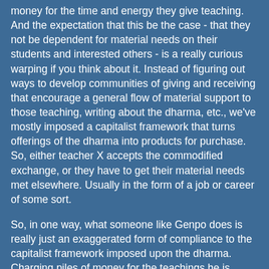money for the time and energy they give teaching. And the expectation that this be the case - that they not be dependent for material needs on their students and interested others - is a really curious warping if you think about it. Instead of figuring out ways to develop communities of giving and receiving that encourage a general flow of material support to those teaching, writing about the dharma, etc., we've mostly imposed a capitalist framework that turns offerings of the dharma into products for purchase. So, either teacher X accepts the commodified exchange, or they have to get their material needs met elsewhere. Usually in the form of a job or career of some sort.
So, in one way, what someone like Genpo does is really just an exaggerated form of compliance to the capitalist framework imposed upon the dharma. Charging piles of money for the teachings he is "giving" ensures that he'll be able to keep functioning for a long, long time as a teacher within the framework. Most others charge much less and either barely get by, work somewhere else for pay, or are privileged. But in all cases, what's reinforced is the notion that an individual "I" is fully responsible for covering his/hers